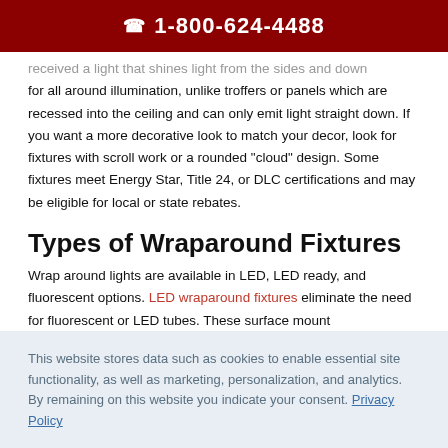📞 1-800-624-4488
received a light that shines light from the sides and down for all around illumination, unlike troffers or panels which are recessed into the ceiling and can only emit light straight down. If you want a more decorative look to match your decor, look for fixtures with scroll work or a rounded "cloud" design. Some fixtures meet Energy Star, Title 24, or DLC certifications and may be eligible for local or state rebates.
Types of Wraparound Fixtures
Wrap around lights are available in LED, LED ready, and fluorescent options. LED wraparound fixtures eliminate the need for fluorescent or LED tubes. These surface mount
This website stores data such as cookies to enable essential site functionality, as well as marketing, personalization, and analytics. By remaining on this website you indicate your consent. Privacy Policy